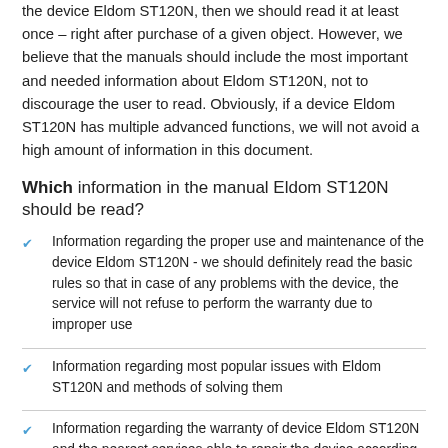the device Eldom ST120N, then we should read it at least once – right after purchase of a given object. However, we believe that the manuals should include the most important and needed information about Eldom ST120N, not to discourage the user to read. Obviously, if a device Eldom ST120N has multiple advanced functions, we will not avoid a high amount of information in this document.
Which information in the manual Eldom ST120N should be read?
Information regarding the proper use and maintenance of the device Eldom ST120N - we should definitely read the basic rules so that in case of any problems with the device, the service will not refuse to perform the warranty due to improper use
Information regarding most popular issues with Eldom ST120N and methods of solving them
Information regarding the warranty of device Eldom ST120N and the nearest services able to repair the device according with the